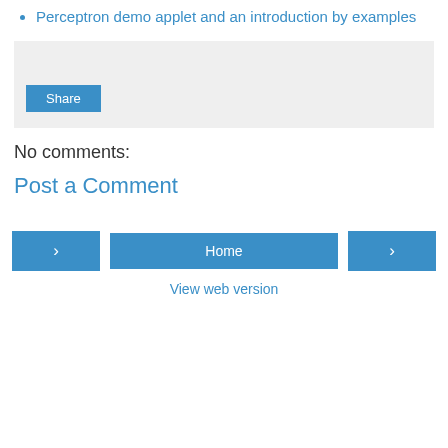Perceptron demo applet and an introduction by examples
[Figure (screenshot): A grey share widget box with a 'Share' button in blue]
No comments:
Post a Comment
[Figure (screenshot): Navigation bar with left arrow button, Home button, and right arrow button, plus a 'View web version' link below]